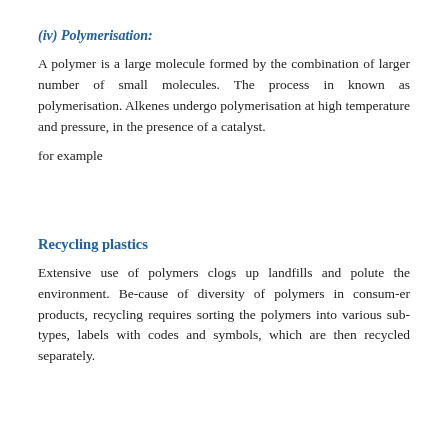(iv) Polymerisation:
A polymer is a large molecule formed by the combination of larger number of small molecules. The process in known as polymerisation. Alkenes undergo polymerisation at high temperature and pressure, in the presence of a catalyst.
for example
Recycling plastics
Extensive use of polymers clogs up landfills and polute the environment. Be-cause of diversity of polymers in consum-er products, recycling requires sorting the polymers into various sub-types, labels with codes and symbols, which are then recycled separately.